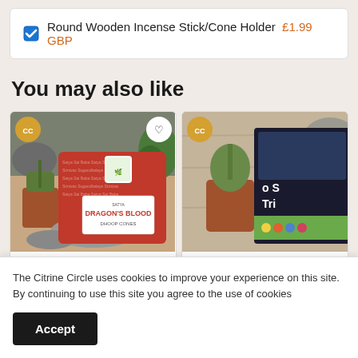☑ Round Wooden Incense Stick/Cone Holder £1.99 GBP
You may also like
[Figure (photo): Product photo of Satya Dragon's Blood Dhoop Cones box (red packaging), held in hand, with cactus and plant in background. CC badge top-left, heart icon top-right.]
[Figure (photo): Partial product photo showing a cactus in terracotta pot and what appears to be incense packaging on wooden surface. CC badge top-left. Partially visible text 'o S' and 'Tri'.]
The Citrine Circle uses cookies to improve your experience on this site. By continuing to use this site you agree to the use of cookies
Accept
£1.50
£1.99